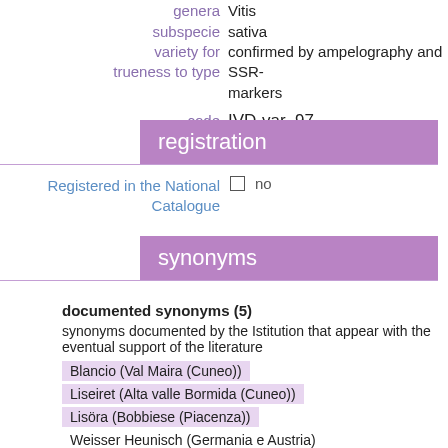genera: Vitis
subspecie: sativa
variety for trueness to type: confirmed by ampelography and SSR-markers
code: IVD-var_97
registration
Registered in the National Catalogue: no
synonyms
documented synonyms (5)
synonyms documented by the Istitution that appear with the eventual support of the literature
Blancio (Val Maira (Cuneo))
Liseiret (Alta valle Bormida (Cuneo))
Lisöra (Bobbiese (Piacenza))
Weisser Heunisch (Germania e Austria)